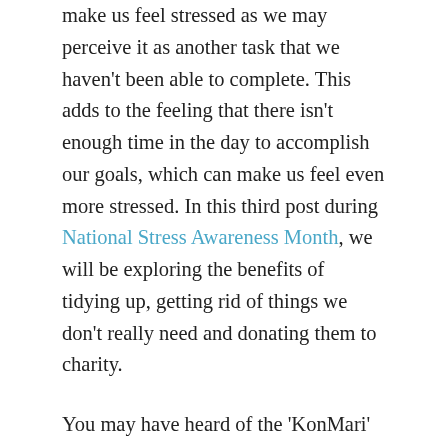make us feel stressed as we may perceive it as another task that we haven't been able to complete. This adds to the feeling that there isn't enough time in the day to accomplish our goals, which can make us feel even more stressed. In this third post during National Stress Awareness Month, we will be exploring the benefits of tidying up, getting rid of things we don't really need and donating them to charity.
You may have heard of the 'KonMari' method popularised by the TV show 'Tidying Up with Marie Kondo'. This method encourages us to get rid of items which no longer 'spark joy' in us. This is similar to the quote by William Morris: "Have nothing in your house that you do not know to be useful, or believe to be beautiful." Focusing on the items that make us happy